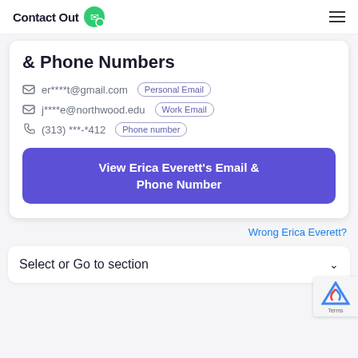ContactOut
& Phone Numbers
er****t@gmail.com  Personal Email
j****e@northwood.edu  Work Email
(313) ***-*412  Phone number
View Erica Everett's Email & Phone Number
Wrong Erica Everett?
Select or Go to section